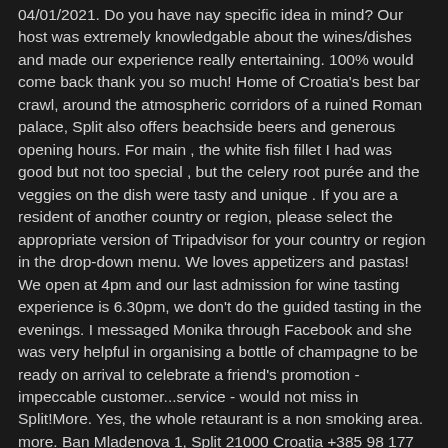04/01/2021. Do you have nay specific idea in mind? Our host was extremely knowledgable about the wines/dishes and made our experience really entertaining. 100% would come back thank you so much! Home of Croatia's best bar crawl, around the atmospheric corridors of a ruined Roman palace, Split also offers beachside beers and generous opening hours. For main , the white fish fillet I had was good but not too special , but the celery root purée and the veggies on the dish were tasty and unique . If you are a resident of another country or region, please select the appropriate version of Tripadvisor for your country or region in the drop-down menu. We loves appetizers and pastas! We open at 4pm and our last admission for wine tasting experience is 6.30pm, we don't do the guided tasting in the evenings. I messaged Monika through Facebook and she was very helpful in organising a bottle of champagne to be ready on arrival to celebrate a friend's promotion - impeccable customer...service - would not miss in Split!More. Yes, the whole retaurant is a non smoking area. more. Ban Mladenova 1, Split 21000 Croatia +385 98 177 6162 Website + Add hours.